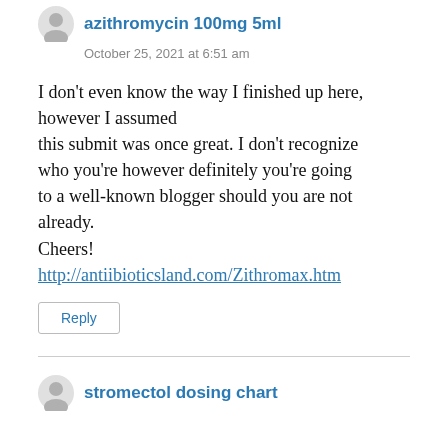azithromycin 100mg 5ml
October 25, 2021 at 6:51 am
I don’t even know the way I finished up here, however I assumed this submit was once great. I don’t recognize who you’re however definitely you’re going to a well-known blogger should you are not already.
Cheers!
http://antiibioticsland.com/Zithromax.htm
Reply
stromectol dosing chart